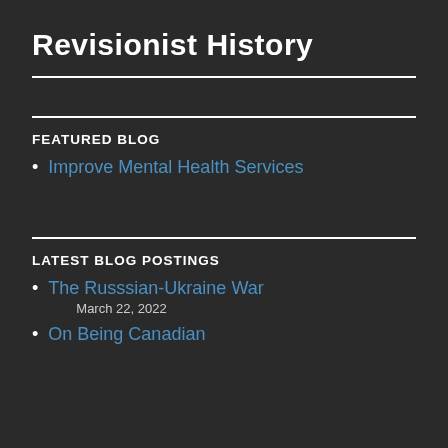Revisionist History
FEATURED BLOG
Improve Mental Health Services
LATEST BLOG POSTINGS
The Russsian‑Ukraine War
March 22, 2022
On Being Canadian